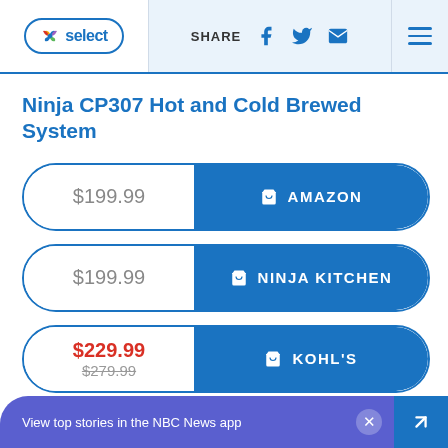NBC Select — SHARE [facebook] [twitter] [email] [menu]
Ninja CP307 Hot and Cold Brewed System
$199.99 AMAZON
$199.99 NINJA KITCHEN
$229.99 / $279.99 KOHL'S
View top stories in the NBC News app